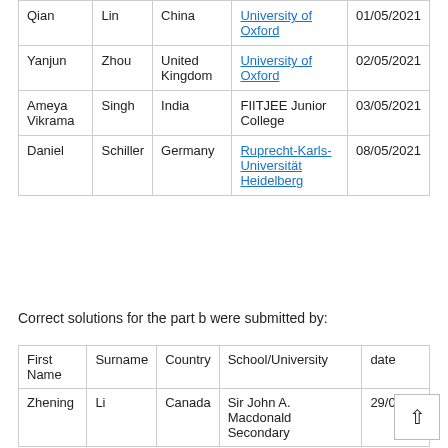| First Name | Surname | Country | School/University | date |
| --- | --- | --- | --- | --- |
| Qian | Lin | China | University of Oxford | 01/05/2021 |
| Yanjun | Zhou | United Kingdom | University of Oxford | 02/05/2021 |
| Ameya Vikrama | Singh | India | FIITJEE Junior College | 03/05/2021 |
| Daniel | Schiller | Germany | Ruprecht-Karls-Universität Heidelberg | 08/05/2021 |
Correct solutions for the part b were submitted by:
| First Name | Surname | Country | School/University | date |
| --- | --- | --- | --- | --- |
| Zhening | Li | Canada | Sir John A. Macdonald Secondary | 29/03/20... |